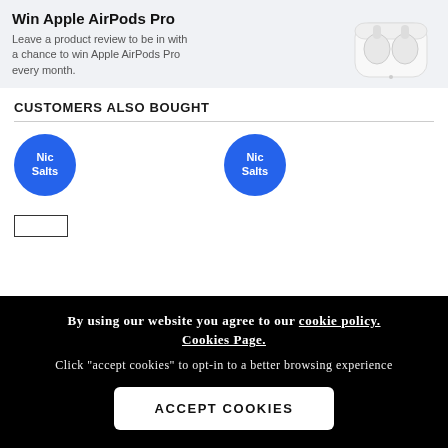[Figure (illustration): Promotional banner with text 'Win Apple AirPods Pro' and image of AirPods Pro case on light grey background]
CUSTOMERS ALSO BOUGHT
[Figure (illustration): Two product circles labeled 'Nic Salts' in blue, representing product thumbnails in the 'Customers Also Bought' section]
By using our website you agree to our cookie policy. Cookies Page.
Click "accept cookies" to opt-in to a better browsing experience
ACCEPT COOKIES